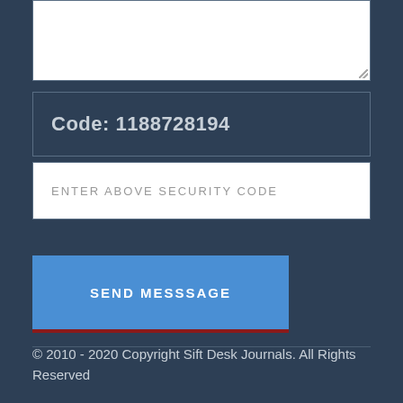[Figure (screenshot): A textarea input box with a resize handle in the bottom-right corner, on a dark navy background]
Code: 1188728194
[Figure (screenshot): An input field with placeholder text 'ENTER ABOVE SECURITY CODE' on white background]
[Figure (screenshot): A blue button labeled 'SEND MESSSAGE' with a dark red bottom border]
© 2010 - 2020 Copyright Sift Desk Journals. All Rights Reserved